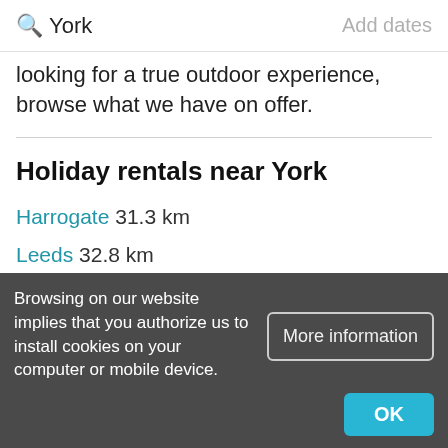York   Add dates
looking for a true outdoor experience, browse what we have on offer.
Holiday rentals near York
Harrogate 31.3 km
Leeds 32.8 km
Browsing on our website implies that you authorize us to install cookies on your computer or mobile device.
More information
OK